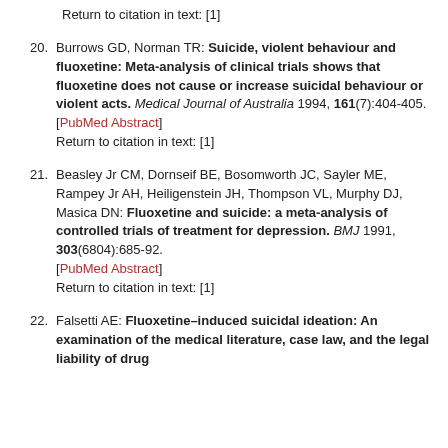Return to citation in text: [1]
20. Burrows GD, Norman TR: Suicide, violent behaviour and fluoxetine: Meta-analysis of clinical trials shows that fluoxetine does not cause or increase suicidal behaviour or violent acts. Medical Journal of Australia 1994, 161(7):404-405. [PubMed Abstract] Return to citation in text: [1]
21. Beasley Jr CM, Dornseif BE, Bosomworth JC, Sayler ME, Rampey Jr AH, Heiligenstein JH, Thompson VL, Murphy DJ, Masica DN: Fluoxetine and suicide: a meta-analysis of controlled trials of treatment for depression. BMJ 1991, 303(6804):685-92. [PubMed Abstract] Return to citation in text: [1]
22. Falsetti AE: Fluoxetine-induced suicidal ideation: An examination of the medical literature, case law, and the legal liability of drug